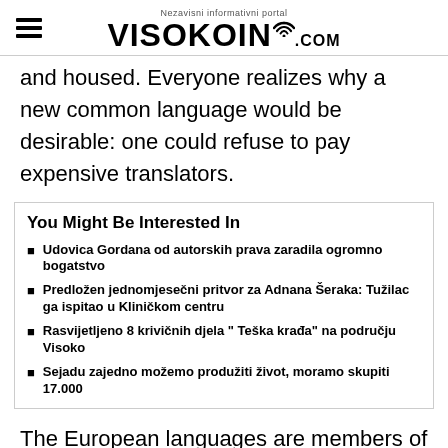Nezavisni informativni portal VISOKOIN.COM
and housed. Everyone realizes why a new common language would be desirable: one could refuse to pay expensive translators.
You Might Be Interested In
Udovica Gordana od autorskih prava zaradila ogromno bogatstvo
Predložen jednomjesečni pritvor za Adnana Šeraka: Tužilac ga ispitao u Kliničkom centru
Rasvijetljeno 8 krivičnih djela " Teška krađa" na području Visoko
Sejadu zajedno možemo produžiti život, moramo skupiti 17.000
The European languages are members of the same family. Their separate existence is a myth. For science,